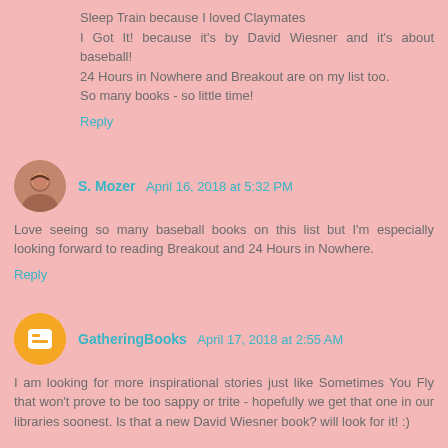Sleep Train because I loved Claymates
I Got It! because it's by David Wiesner and it's about baseball!
24 Hours in Nowhere and Breakout are on my list too.
So many books - so little time!
Reply
S. Mozer  April 16, 2018 at 5:32 PM
Love seeing so many baseball books on this list but I'm especially looking forward to reading Breakout and 24 Hours in Nowhere.
Reply
GatheringBooks  April 17, 2018 at 2:55 AM
I am looking for more inspirational stories just like Sometimes You Fly that won't prove to be too sappy or trite - hopefully we get that one in our libraries soonest. Is that a new David Wiesner book? will look for it! :)